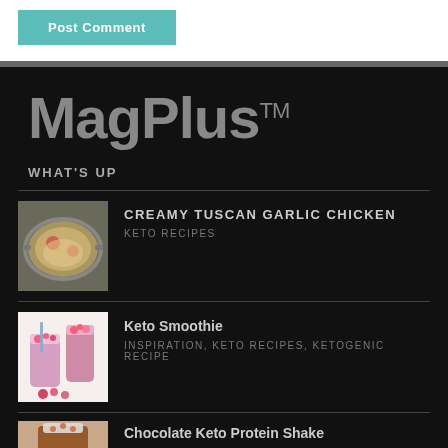Post Comment
MagPlus™
WHAT'S UP
[Figure (photo): Food in a pan - Creamy Tuscan Garlic Chicken dish]
CREAMY TUSCAN GARLIC CHICKEN
KETO RECIPES
[Figure (photo): Keto smoothie drinks with raspberries]
Keto Smoothie
INSPIRATION, KETO RECIPES, KETOGENIC RECIPE
[Figure (photo): Chocolate Keto Protein Shake - partially visible]
Chocolate Keto Protein Shake